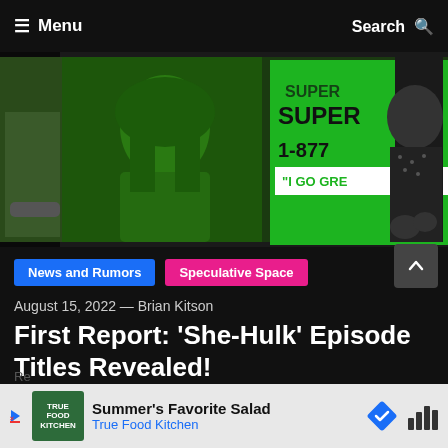≡ Menu   Search 🔍
[Figure (photo): She-Hulk promotional image with green-tinted woman on left and woman in dark outfit on right, with 'SUPER' text and '1-877' phone number visible, green background billboard]
News and Rumors
Speculative Space
August 15, 2022 — Brian Kitson
First Report: 'She-Hulk' Episode Titles Revealed!
As we're just days away from the official release of She-Hulk: Attorney at Law, we here at The Cosmic Circus...
Tagged Disney+ , Marvel , She-Hulk
Summer's Favorite Salad
True Food Kitchen